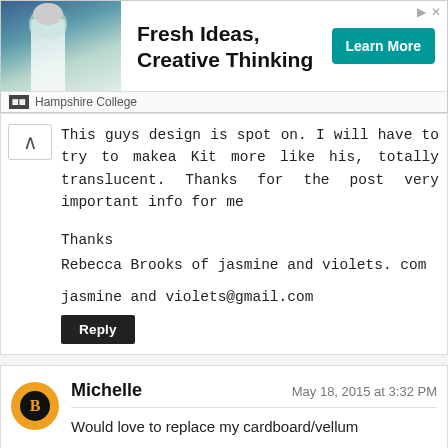[Figure (illustration): Advertisement banner for Hampshire College featuring a person in a lab coat with safety glasses, text 'Fresh Ideas, Creative Thinking', a 'Learn More' button, and Hampshire College logo attribution.]
This guys design is spot on. I will have to try to makea Kit more like his, totally translucent. Thanks for the post very important info for me

Thanks
Rebecca Brooks of jasmine and violets. com

jasmine and violets@gmail.com
Reply
Michelle
May 18, 2015 at 3:32 PM
Would love to replace my cardboard/vellum contraptions!!
Thanks, Pearl
Blog follower
Posted to Facebook
Pinned